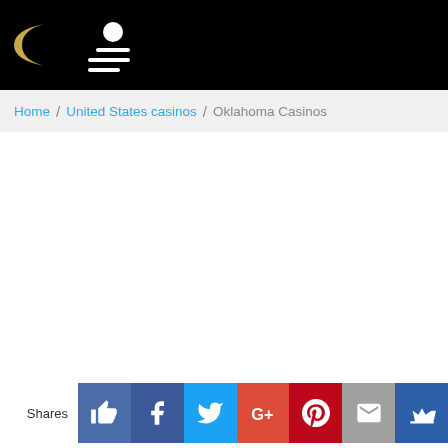Casino site header with moon logo and menu icon
Home / United States casinos / Oklahoma Casinos
[Figure (screenshot): White blank content area]
Shares - social share buttons: Like, Facebook, Twitter, Google+, Pinterest, Email, Crown